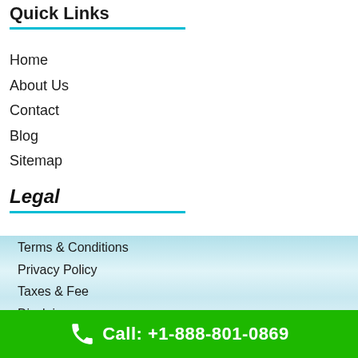Quick Links
Home
About Us
Contact
Blog
Sitemap
Legal
Terms & Conditions
Privacy Policy
Taxes & Fee
Disclaimer
FAQ
Call: +1-888-801-0869